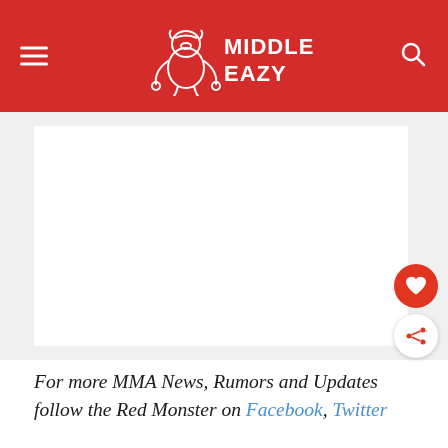Middle Easy
[Figure (photo): White/blank image placeholder area within a light gray content region]
For more MMA News, Rumors and Updates follow the Red Monster on Facebook, Twitter